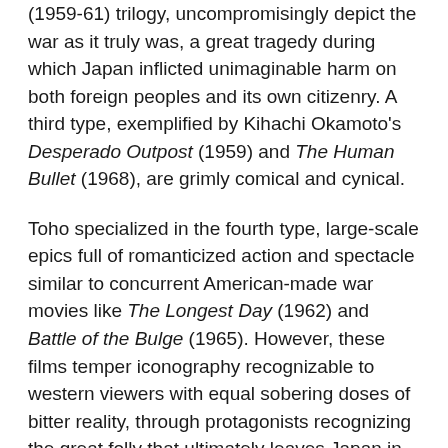(1959-61) trilogy, uncompromisingly depict the war as it truly was, a great tragedy during which Japan inflicted unimaginable harm on both foreign peoples and its own citizenry. A third type, exemplified by Kihachi Okamoto's Desperado Outpost (1959) and The Human Bullet (1968), are grimly comical and cynical.
Toho specialized in the fourth type, large-scale epics full of romanticized action and spectacle similar to concurrent American-made war movies like The Longest Day (1962) and Battle of the Bulge (1965). However, these films temper iconography recognizable to western viewers with equal sobering doses of bitter reality, through protagonists recognizing the great folly that ultimately leaves Japan in ruins and a generation of men wiped out for nothing.
That particular sub-genre peaked with Shue Matsubayashi's marvelous Storm Over the Pacific (also known as I Bombed Pearl Harbor, 1960), the biggest of these big-scale productions, and